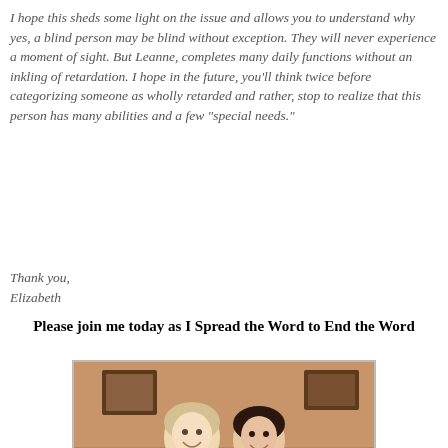I hope this sheds some light on the issue and allows you to understand why yes, a blind person may be blind without exception. They will never experience a moment of sight. But Leanne, completes many daily functions without an inkling of retardation. I hope in the future, you'll think twice before categorizing someone as wholly retarded and rather, stop to realize that this person has many abilities and a few "special needs."
Thank you,
Elizabeth
Please join me today as I Spread the Word to End the Word
[Figure (photo): Two women hugging and smiling at what appears to be a formal event or wedding reception, seated at a table with glasses and table settings visible. Both are wearing white. Background shows framed pictures on warm-toned walls.]